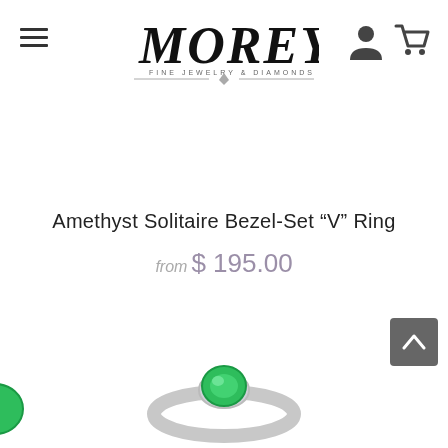[Figure (logo): Morey Fine Jewelry & Diamonds logo with hamburger menu, user icon, and cart icon]
Amethyst Solitaire Bezel-Set "V" Ring
from $ 195.00
[Figure (photo): Ring with green gemstone shown at the bottom of the page]
[Figure (other): Back to top arrow button (gray square)]